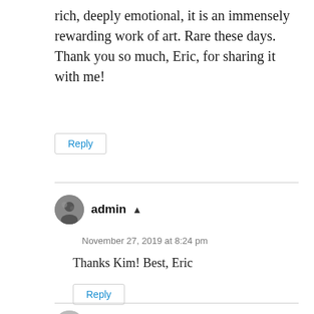rich, deeply emotional, it is an immensely rewarding work of art. Rare these days. Thank you so much, Eric, for sharing it with me!
Reply
admin ▲
November 27, 2019 at 8:24 pm
Thanks Kim! Best, Eric
Reply
Trish Bostrom